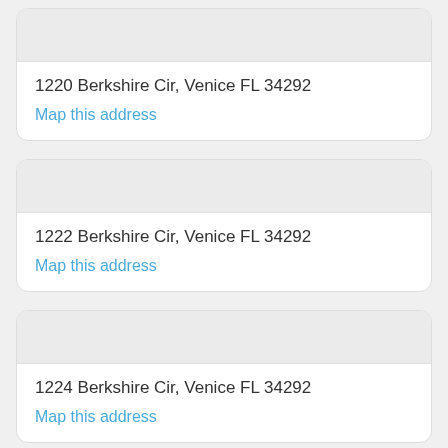1220 Berkshire Cir, Venice FL 34292
Map this address
1222 Berkshire Cir, Venice FL 34292
Map this address
1224 Berkshire Cir, Venice FL 34292
Map this address